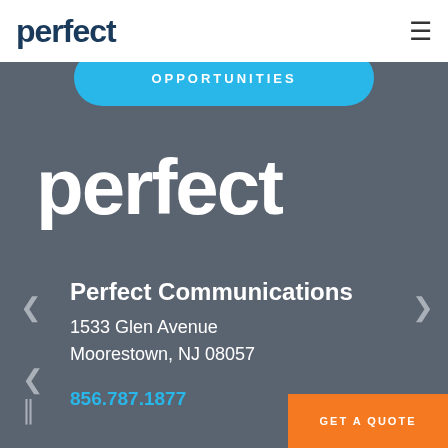perfect
OPPORTUNITIES
perfect
Perfect Communications
1533 Glen Avenue
Moorestown, NJ 08057
856.787.1877
GET A QUOTE